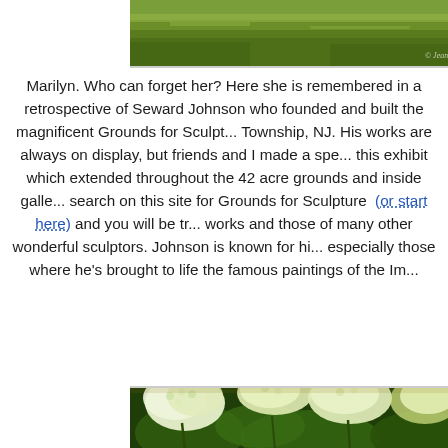[Figure (photo): Partial view of green lawn/grass with watermark '© Jeannin' in bottom right corner]
Marilyn. Who can forget her? Here she is remembered in a retrospective of Seward Johnson who founded and built the magnificent Grounds for Sculpture in Hamilton Township, NJ. His works are always on display, but friends and I made a special trip for this exhibit which extended throughout the 42 acre grounds and inside galleries. You can search on this site for Grounds for Sculpture (or start here) and you will be treated to his works and those of many other wonderful sculptors. Johnson is known for his bronze works, especially those where he's brought to life the famous paintings of the Im
[Figure (photo): Hydrangea flowers (white/cream pompom clusters) with large green leaves in a garden, wooden fence visible in background]